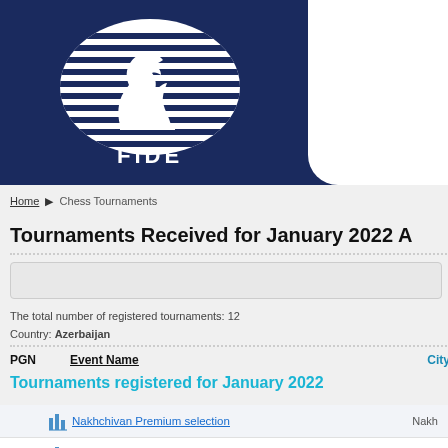[Figure (logo): FIDE logo with chess knight on dark navy blue banner background]
Home ▶ Chess Tournaments
Tournaments Received for January 2022 A
The total number of registered tournaments: 12
Country: Azerbaijan
| PGN | Event Name | City |
| --- | --- | --- |
|  | Nakhchivan Premium selection | Nakh |
|  | Vugar Gashimov Memorial 2021 (rapid) | Baku |
|  | Vugar Gashimov Memorial 2021 (blitz) | Baku |